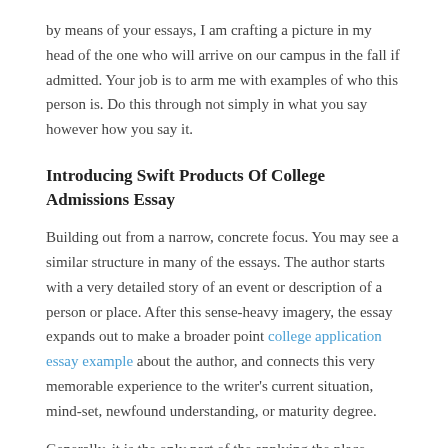by means of your essays, I am crafting a picture in my head of the one who will arrive on our campus in the fall if admitted. Your job is to arm me with examples of who this person is. Do this through not simply in what you say however how you say it.
Introducing Swift Products Of College Admissions Essay
Building out from a narrow, concrete focus. You may see a similar structure in many of the essays. The author starts with a very detailed story of an event or description of a person or place. After this sense-heavy imagery, the essay expands out to make a broader point college application essay example about the author, and connects this very memorable experience to the writer's current situation, mind-set, newfound understanding, or maturity degree.
Generally, it is the only part of the applying the place you've the opportunity to indicate the school who you